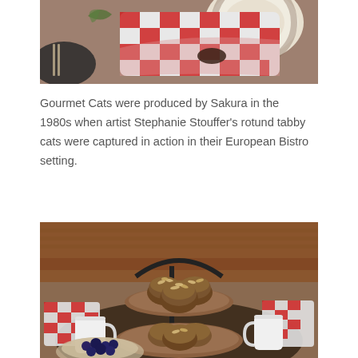[Figure (photo): Close-up photo of a table setting with a red and white checkered napkin folded and placed near decorative plates with a cat design.]
Gourmet Cats were produced by Sakura in the 1980s when artist Stephanie Stouffer's rotund tabby cats were captured in action in their European Bistro setting.
[Figure (photo): Photo of an outdoor table setting with a tiered stand holding round baked goods topped with almond slices, surrounded by white mugs, red and white checkered napkins, and a bowl of blueberries, with wicker furniture in the background.]